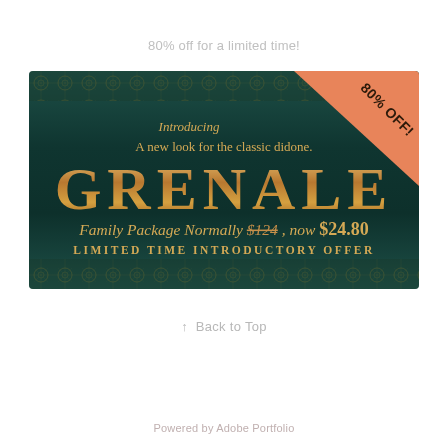80% off for a limited time!
[Figure (illustration): Promotional banner for Grenale font family. Dark teal leather-textured background with gold geometric border patterns top and bottom. Orange triangle badge in top-right corner reads '80% OFF!'. Center text in gold/amber: italic 'Introducing', then 'A new look for the classic didone.', large display typeface 'GRENALE', then 'Family Package Normally $124, now $24.80' with $124 struck through, and 'LIMITED TIME INTRODUCTORY OFFER' in small caps.]
↑  Back to Top
Powered by Adobe Portfolio